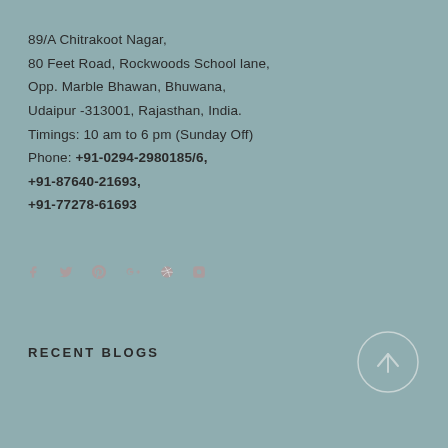89/A Chitrakoot Nagar,
80 Feet Road, Rockwoods School lane,
Opp. Marble Bhawan, Bhuwana,
Udaipur -313001, Rajasthan, India.
Timings: 10 am to 6 pm (Sunday Off)
Phone: +91-0294-2980185/6,
+91-87640-21693,
+91-77278-61693
[Figure (infographic): Social media icons row: Facebook, Twitter, Pinterest, Google+, Dribbble, Instagram]
RECENT BLOGS
[Figure (illustration): Circular scroll-to-top button with an upward arrow]